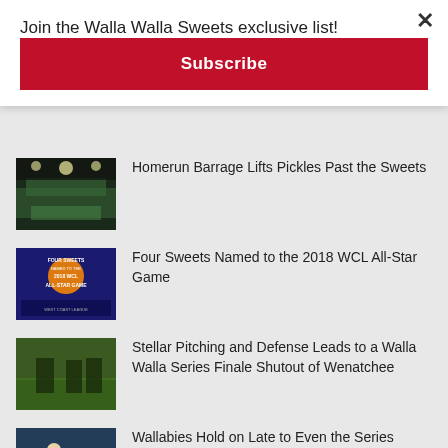Join the Walla Walla Sweets exclusive list!
Subscribe
Homerun Barrage Lifts Pickles Past the Sweets
Four Sweets Named to the 2018 WCL All-Star Game
Stellar Pitching and Defense Leads to a Walla Walla Series Finale Shutout of Wenatchee
Wallabies Hold on Late to Even the Series Against the AppleSox
Wenatchee Snatches Victory from the...